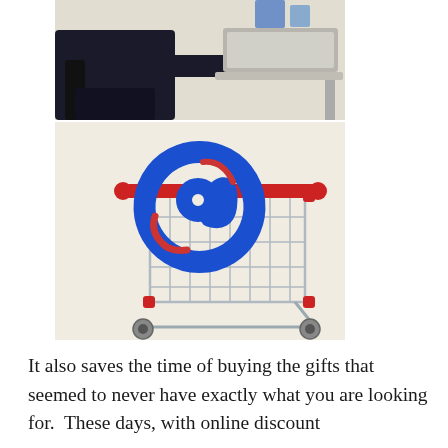[Figure (photo): Person sitting at a desk using a laptop computer, wearing dark clothing, viewed from the side]
[Figure (photo): A shopping cart with a large blue at-symbol (@) inside it, the cart has red handles and accents, on a white background]
It also saves the time of buying the gifts that seemed to never have exactly what you are looking for.  These days, with online discount